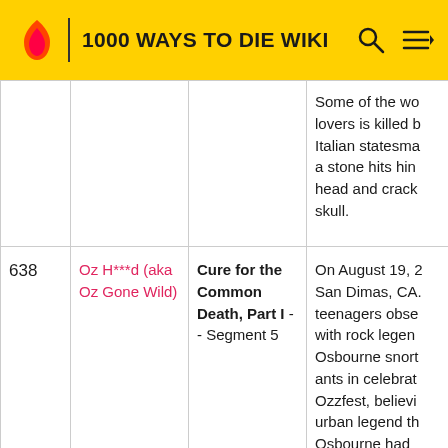1000 WAYS TO DIE WIKI
| # | Name | Episode | Description |
| --- | --- | --- | --- |
|  |  |  | Some of the wo lovers is killed b Italian statesma a stone hits hin head and crack skull. |
| 638 | Oz H***d (aka Oz Gone Wild) | Cure for the Common Death, Part I - - Segment 5 | On August 19, 2 San Dimas, CA. teenagers obse with rock legen Osbourne snort ants in celebrat Ozzfest, believi urban legend th Osbourne had supposedly dor same with fello rocker Nikki Six |